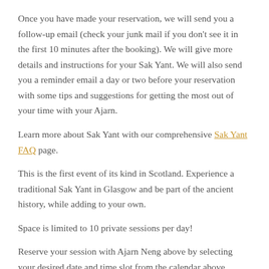Once you have made your reservation, we will send you a follow-up email (check your junk mail if you don't see it in the first 10 minutes after the booking). We will give more details and instructions for your Sak Yant. We will also send you a reminder email a day or two before your reservation with some tips and suggestions for getting the most out of your time with your Ajarn.
Learn more about Sak Yant with our comprehensive Sak Yant FAQ page.
This is the first event of its kind in Scotland. Experience a traditional Sak Yant in Glasgow and be part of the ancient history, while adding to your own.
Space is limited to 10 private sessions per day!
Reserve your session with Ajarn Neng above by selecting your desired date and time slot from the calendar above. Space is first-